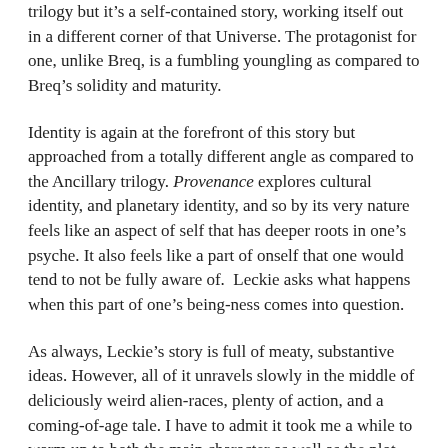trilogy but it's a self-contained story, working itself out in a different corner of that Universe. The protagonist for one, unlike Breq, is a fumbling youngling as compared to Breq's solidity and maturity.
Identity is again at the forefront of this story but approached from a totally different angle as compared to the Ancillary trilogy. Provenance explores cultural identity, and planetary identity, and so by its very nature feels like an aspect of self that has deeper roots in one's psyche. It also feels like a part of onself that one would tend to not be fully aware of.  Leckie asks what happens when this part of one's being-ness comes into question.
As always, Leckie's story is full of meaty, substantive ideas. However, all of it unravels slowly in the middle of deliciously weird alien-races, plenty of action, and a coming-of-age tale. I have to admit it took me a while to warm up to both the main character as well as the plot.